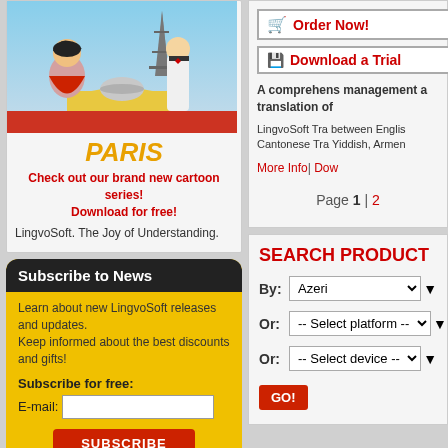[Figure (illustration): Cartoon illustration of Paris dining scene with Eiffel Tower in background]
PARIS
Check out our brand new cartoon series! Download for free!
LingvoSoft. The Joy of Understanding.
Subscribe to News
Learn about new LingvoSoft releases and updates.
Keep informed about the best discounts and gifts!
Subscribe for free:
E-mail:
SUBSCRIBE
Order Now!
Download a Trial
A comprehens management a translation of
LingvoSoft Tra between Englis Cantonese Tra Yiddish, Armen
More Info| Dow
Page 1 | 2
SEARCH PRODUCT
By: Azeri
Or: -- Select platform --
Or: -- Select device --
GO!